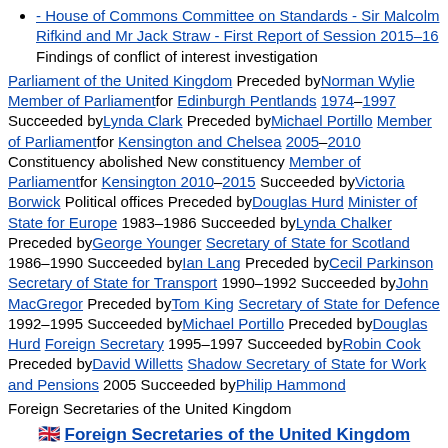- House of Commons Committee on Standards - Sir Malcolm Rifkind and Mr Jack Straw - First Report of Session 2015–16 Findings of conflict of interest investigation
Parliament of the United Kingdom Preceded by Norman Wylie Member of Parliament for Edinburgh Pentlands 1974–1997 Succeeded by Lynda Clark Preceded by Michael Portillo Member of Parliament for Kensington and Chelsea 2005–2010 Constituency abolished New constituency Member of Parliament for Kensington 2010–2015 Succeeded by Victoria Borwick Political offices Preceded by Douglas Hurd Minister of State for Europe 1983–1986 Succeeded by Lynda Chalker Preceded by George Younger Secretary of State for Scotland 1986–1990 Succeeded by Ian Lang Preceded by Cecil Parkinson Secretary of State for Transport 1990–1992 Succeeded by John MacGregor Preceded by Tom King Secretary of State for Defence 1992–1995 Succeeded by Michael Portillo Preceded by Douglas Hurd Foreign Secretary 1995–1997 Succeeded by Robin Cook Preceded by David Willetts Shadow Secretary of State for Work and Pensions 2005 Succeeded by Philip Hammond
Foreign Secretaries of the United Kingdom
Foreign Secretaries of the United Kingdom
Fox